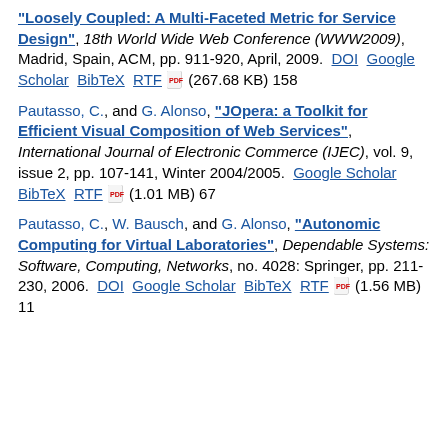"Loosely Coupled: A Multi-Faceted Metric for Service Design", 18th World Wide Web Conference (WWW2009), Madrid, Spain, ACM, pp. 911-920, April, 2009. DOI Google Scholar BibTeX RTF [pdf] (267.68 KB) 158
Pautasso, C., and G. Alonso, "JOpera: a Toolkit for Efficient Visual Composition of Web Services", International Journal of Electronic Commerce (IJEC), vol. 9, issue 2, pp. 107-141, Winter 2004/2005. Google Scholar BibTeX RTF [pdf] (1.01 MB) 67
Pautasso, C., W. Bausch, and G. Alonso, "Autonomic Computing for Virtual Laboratories", Dependable Systems: Software, Computing, Networks, no. 4028: Springer, pp. 211-230, 2006. DOI Google Scholar BibTeX RTF [pdf] (1.56 MB) 11